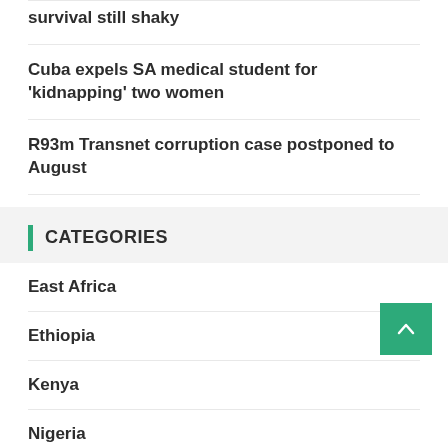survival still shaky
Cuba expels SA medical student for 'kidnapping' two women
R93m Transnet corruption case postponed to August
CATEGORIES
East Africa
Ethiopia
Kenya
Nigeria
South Africa
YOU MAY HAVE MISSED
[Figure (photo): Partial view of a photo at the bottom of the page]